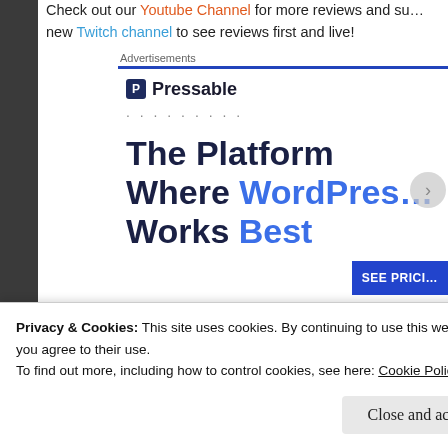Check out our Youtube Channel for more reviews and subscribe to our new Twitch channel to see reviews first and live!
Advertisements
[Figure (logo): Pressable logo with icon and brand name]
The Platform Where WordPress Works Best
SEE PRICING
Privacy & Cookies: This site uses cookies. By continuing to use this website, you agree to their use.
To find out more, including how to control cookies, see here: Cookie Policy
Close and accept